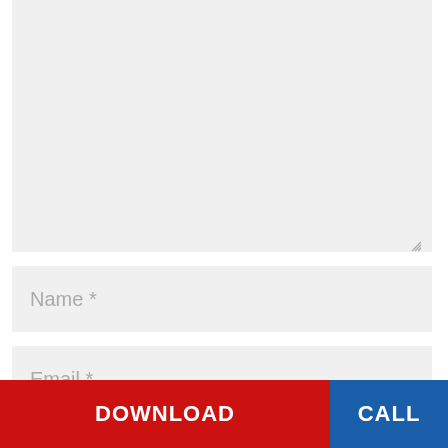[Figure (screenshot): Textarea input field with light gray background and resize handle in bottom-right corner]
Name *
Email *
ConstructConnect is committed to your privacy. The information you provide is used to contact you about our relevant content, products, and services. Review our privacy policy, do not sell my personal information policy, or unsubscribe.
DOWNLOAD
CALL